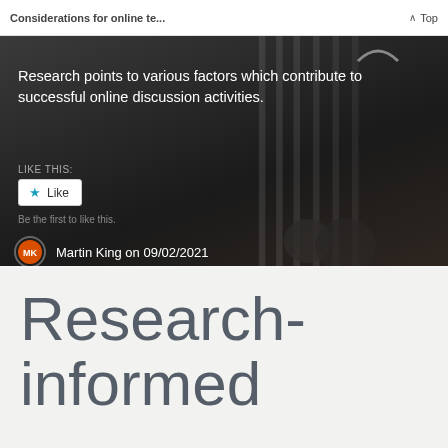Considerations for online te... ^ Top
[Figure (screenshot): Dark background photo with overlaid text showing blog post content: quote about research and online discussion, a Like button, and author attribution to Martin King on 09/02/2021]
Research-informed